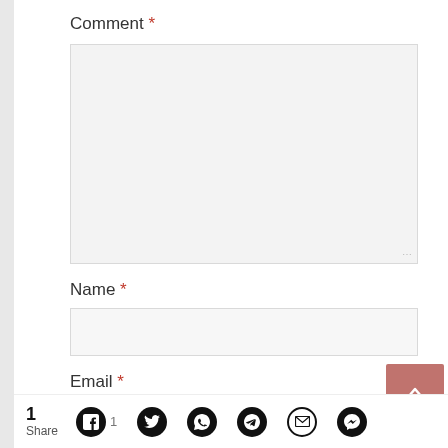Comment *
[Figure (screenshot): Large textarea input box with light gray background and resize handle]
Name *
[Figure (screenshot): Single-line text input box for Name field]
Email *
[Figure (screenshot): Single-line text input box for Email field (partially visible)]
[Figure (screenshot): Scroll-to-top button with upward chevron, reddish-pink color]
1 Share | Facebook 1 | Twitter | WhatsApp | Telegram | Email | Messenger